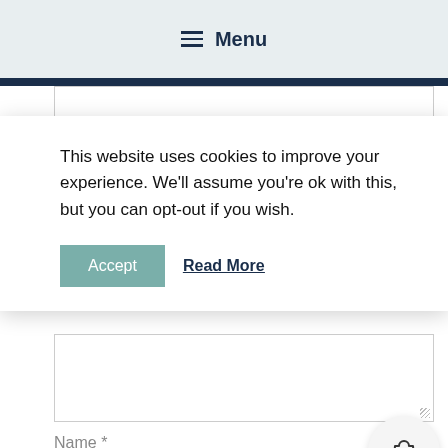Menu
This website uses cookies to improve your experience. We'll assume you're ok with this, but you can opt-out if you wish.
Accept   Read More
Name *